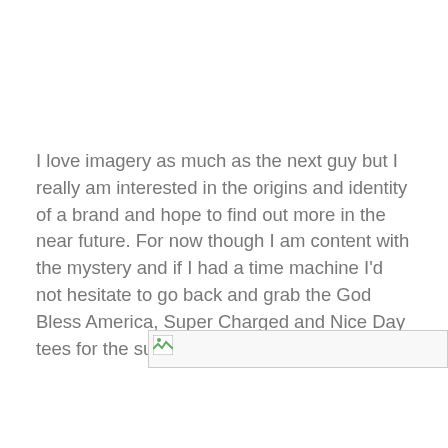I love imagery as much as the next guy but I really am interested in the origins and identity of a brand and hope to find out more in the near future. For now though I am content with the mystery and if I had a time machine I'd not hesitate to go back and grab the God Bless America, Super Charged and Nice Day tees for the summer.
[Figure (other): Broken/missing image placeholder with small icon in top-left corner]